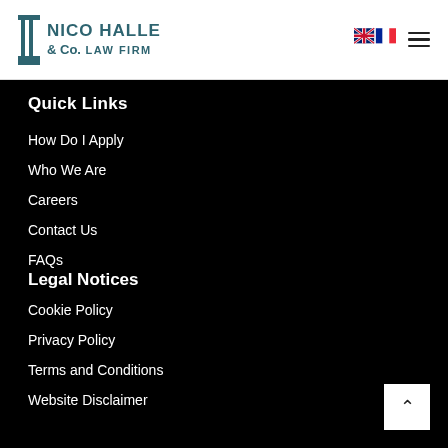NICO HALLE & Co. LAW FIRM
Quick Links
How Do I Apply
Who We Are
Careers
Contact Us
FAQs
Legal Notices
Cookie Policy
Privacy Policy
Terms and Conditions
Website Disclaimer
About Our Law Firm